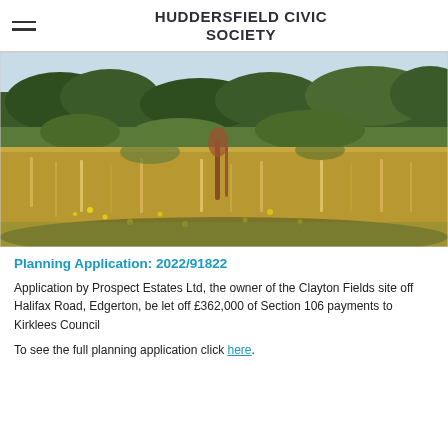HUDDERSFIELD CIVIC SOCIETY
[Figure (photo): Photograph of the Clayton Fields site showing wild grassland meadow with yellow flowers in the foreground, dense green trees and shrubs in the background, and a clear summer sky.]
Planning Application: 2022/91822
Application by Prospect Estates Ltd, the owner of the Clayton Fields site off Halifax Road, Edgerton, be let off £362,000 of Section 106 payments to Kirklees Council
To see the full planning application click here.